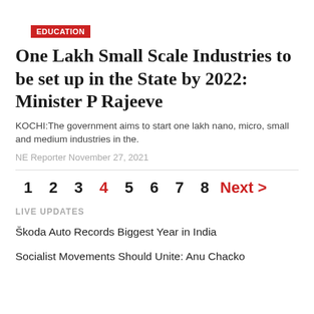EDUCATION
One Lakh Small Scale Industries to be set up in the State by 2022: Minister P Rajeeve
KOCHI:The government aims to start one lakh nano, micro, small and medium industries in the.
NE Reporter November 27, 2021
1  2  3  4  5  6  7  8  Next >
LIVE UPDATES
Škoda Auto Records Biggest Year in India
Socialist Movements Should Unite: Anu Chacko